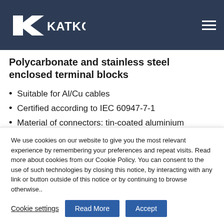KATKO
Polycarbonate and stainless steel enclosed terminal blocks
Suitable for Al/Cu cables
Certified according to IEC 60947-7-1
Material of connectors: tin-coated aluminium
IP66: KLM: 2×16, 1×50, 2×50; KLR: 2×16, 1×50,
We use cookies on our website to give you the most relevant experience by remembering your preferences and repeat visits. Read more about cookies from our Cookie Policy. You can consent to the use of such technologies by closing this notice, by interacting with any link or button outside of this notice or by continuing to browse otherwise..